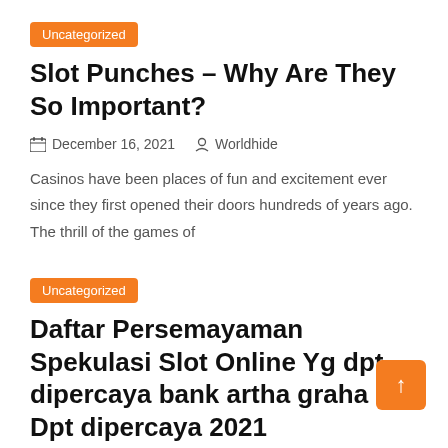Uncategorized
Slot Punches – Why Are They So Important?
December 16, 2021   Worldhide
Casinos have been places of fun and excitement ever since they first opened their doors hundreds of years ago. The thrill of the games of
Uncategorized
Daftar Persemayaman Spekulasi Slot Online Yg dpt dipercaya bank artha graha Dpt dipercaya 2021
December 15, 2021   Worldhide